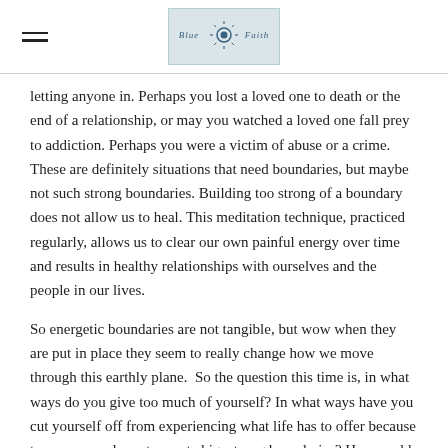[logo: Blue Fold / Blue Faith brand logo with sun/lotus icon]
letting anyone in. Perhaps you lost a loved one to death or the end of a relationship, or may you watched a loved one fall prey to addiction. Perhaps you were a victim of abuse or a crime. These are definitely situations that need boundaries, but maybe not such strong boundaries. Building too strong of a boundary does not allow us to heal. This meditation technique, practiced regularly, allows us to clear our own painful energy over time and results in healthy relationships with ourselves and the people in our lives.
So energetic boundaries are not tangible, but wow when they are put in place they seem to really change how we move through this earthly plane.  So the question this time is, in what ways do you give too much of yourself? In what ways have you cut yourself off from experiencing what life has to offer because trauma caused you to create big, strong boundaries? How could you access your own energetic boundaries to live a